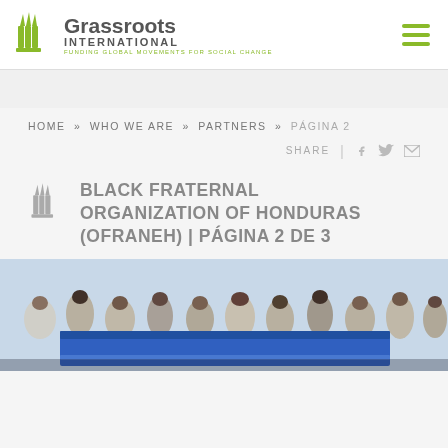Grassroots International — FUNDING GLOBAL MOVEMENTS FOR SOCIAL CHANGE
HOME » WHO WE ARE » PARTNERS » PÁGINA 2
SHARE | [facebook] [twitter] [email]
BLACK FRATERNAL ORGANIZATION OF HONDURAS (OFRANEH) | PÁGINA 2 DE 3
[Figure (photo): Group of people holding a large blue banner/flag at what appears to be a rally or march.]